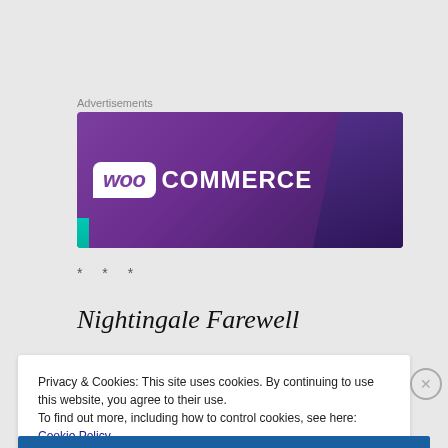Advertisements
[Figure (logo): WooCommerce advertisement banner with purple gradient background showing WooCommerce logo]
* * *
Nightingale Farewell
Privacy & Cookies: This site uses cookies. By continuing to use this website, you agree to their use.
To find out more, including how to control cookies, see here: Cookie Policy